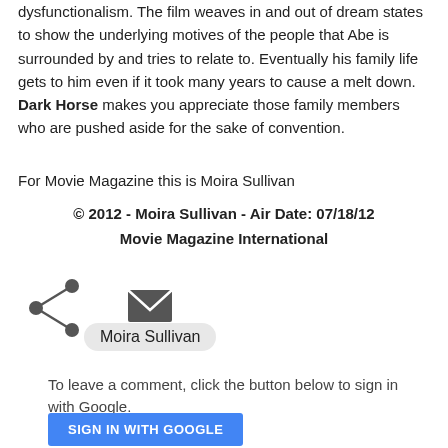dysfunctionalism. The film weaves in and out of dream states to show the underlying motives of the people that Abe is surrounded by and tries to relate to. Eventually his family life gets to him even if it took many years to cause a melt down. Dark Horse makes you appreciate those family members who are pushed aside for the sake of convention.
For Movie Magazine this is Moira Sullivan
© 2012 - Moira Sullivan - Air Date: 07/18/12
Movie Magazine International
[Figure (infographic): Share icon (less-than arrow shape) and email envelope icon]
Moira Sullivan
To leave a comment, click the button below to sign in with Google.
SIGN IN WITH GOOGLE